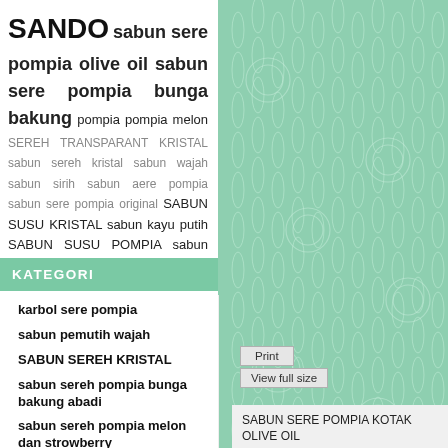SANDO sabun sere pompia olive oil sabun sere pompia bunga bakung pompia pompia melon SEREH TRANSPARANT KRISTAL sabun sereh kristal sabun wajah sabun sirih sabun aere pompia sabun sere pompia original SABUN SUSU KRISTAL sabun kayu putih SABUN SUSU POMPIA sabun sere pompia KARBOL SERE POMPIA
KATEGORI
karbol sere pompia
sabun pemutih wajah
SABUN SEREH KRISTAL
sabun sereh pompia bunga bakung abadi
sabun sereh pompia melon dan strowberry
sabun sereh pompia olive oil
sabun sereh pompia
[Figure (illustration): Green batik/textile pattern background on right half of page]
Print
View full size
SABUN SERE POMPIA KOTAK OLIVE OIL
More details